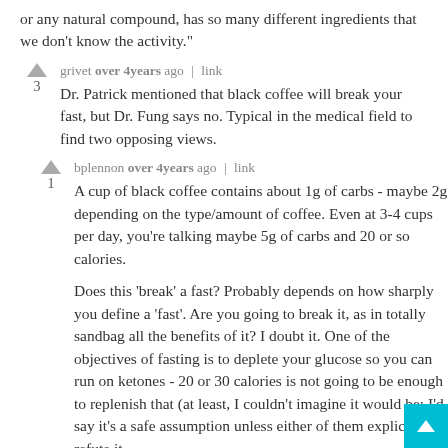or any natural compound, has so many different ingredients that we don't know the activity."
grivet over 4years ago | link
3
Dr. Patrick mentioned that black coffee will break your fast, but Dr. Fung says no. Typical in the medical field to find two opposing views.
bplennon over 4years ago | link
1
A cup of black coffee contains about 1g of carbs - maybe 2g depending on the type/amount of coffee. Even at 3-4 cups per day, you're talking maybe 5g of carbs and 20 or so calories.

Does this 'break' a fast? Probably depends on how sharply you define a 'fast'. Are you going to break it, as in totally sandbag all the benefits of it? I doubt it. One of the objectives of fasting is to deplete your glucose so you can run on ketones - 20 or 30 calories is not going to be enough to replenish that (at least, I couldn't imagine it would be; I'd say it's a safe assumption unless either of them explicitly refute it